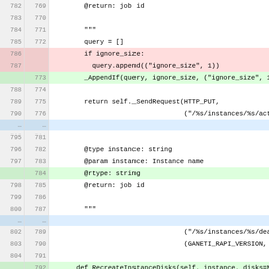[Figure (screenshot): Code diff view showing Python source code with line numbers (old and new), with red-highlighted deleted lines, green-highlighted added lines, and blue-highlighted context ellipsis rows. Code appears to be from a Ganeti RAPI client library.]